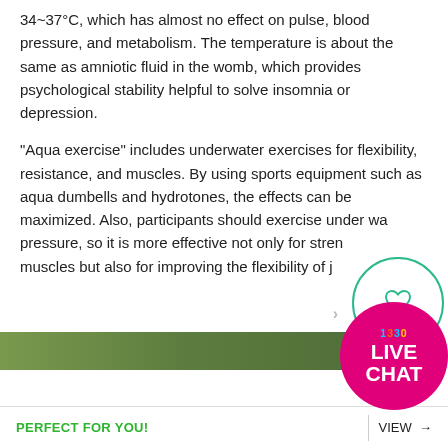34~37°C, which has almost no effect on pulse, blood pressure, and metabolism. The temperature is about the same as amniotic fluid in the womb, which provides psychological stability helpful to solve insomnia or depression.
"Aqua exercise" includes underwater exercises for flexibility, resistance, and muscles. By using sports equipment such as aqua dumbells and hydrotones, the effects can be maximized. Also, participants should exercise under water pressure, so it is more effective not only for strengthening muscles but also for improving the flexibility of joints.
[Figure (photo): A partial green nature/water image strip partially obscured by a live chat widget overlay.]
PERFECT FOR YOU!    VIEW →